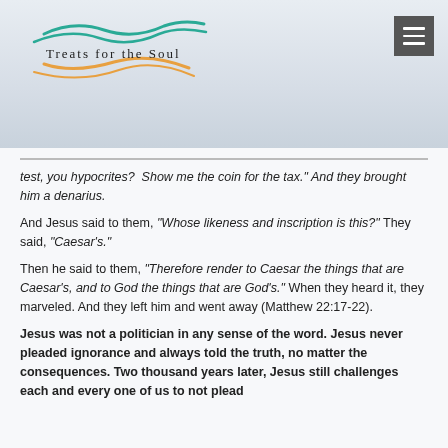Treats for the Soul
test, you hypocrites? Show me the coin for the tax.” And they brought him a denarius.
And Jesus said to them, “Whose likeness and inscription is this?” They said, “Caesar’s.”
Then he said to them, “Therefore render to Caesar the things that are Caesar’s, and to God the things that are God’s.” When they heard it, they marveled. And they left him and went away (Matthew 22:17-22).
Jesus was not a politician in any sense of the word. Jesus never pleaded ignorance and always told the truth, no matter the consequences. Two thousand years later, Jesus still challenges each and every one of us to not plead